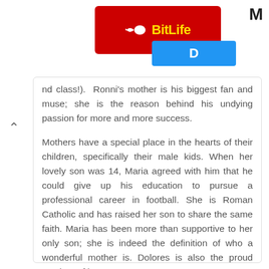[Figure (logo): BitLife app advertisement banner with red background, yellow BitLife logo with sperm icon, and blue tab section with letter D]
nd class!). Ronni's mother is his biggest fan and muse; she is the reason behind his undying passion for more and more success.
Mothers have a special place in the hearts of their children, specifically their male kids. When her lovely son was 14, Maria agreed with him that he could give up his education to pursue a professional career in football. She is Roman Catholic and has raised her son to share the same faith. Maria has been more than supportive to her only son; she is indeed the definition of who a wonderful mother is. Dolores is also the proud survivor of breast cancer.